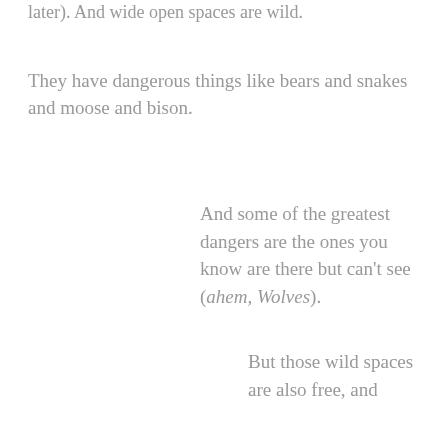later). And wide open spaces are wild.
They have dangerous things like bears and snakes and moose and bison.
And some of the greatest dangers are the ones you know are there but can't see (ahem, Wolves).
But those wild spaces are also free, and